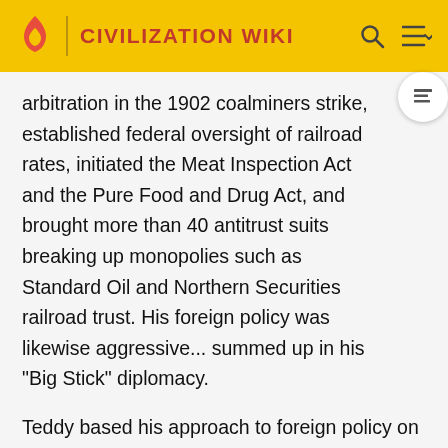CIVILIZATION WIKI
arbitration in the 1902 coalminers strike, established federal oversight of railroad rates, initiated the Meat Inspection Act and the Pure Food and Drug Act, and brought more than 40 antitrust suits breaking up monopolies such as Standard Oil and Northern Securities railroad trust. His foreign policy was likewise aggressive... summed up in his "Big Stick" diplomacy.
Teddy based his approach to foreign policy on the old adage of "speak softly and carry a big stick." He himself described it as "the exercise of intelligent forethought and of decisive action sufficiently far in advance of any likely crisis." For Teddy, that meant negotiate peacefully but simultaneously threaten with the big stick - via trade